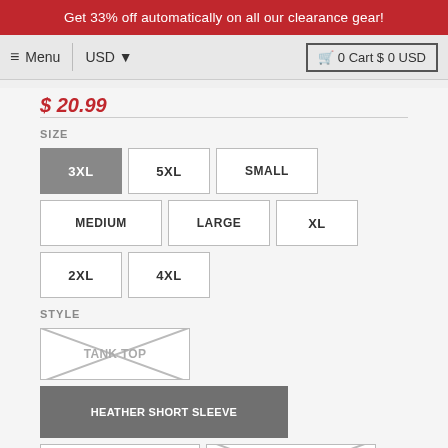Get 33% off automatically on all our clearance gear!
≡ Menu  |  USD ▼    🛒 0 Cart $ 0 USD
$ 20.99
SIZE
3XL  5XL  SMALL  MEDIUM  LARGE  XL  2XL  4XL
STYLE
TANK TOP  HEATHER SHORT SLEEVE  LONG SLEEVE  SHORT SLEEVE
COLOR | BLUE
[Figure (other): Blue circle color swatch]
QUANTITY